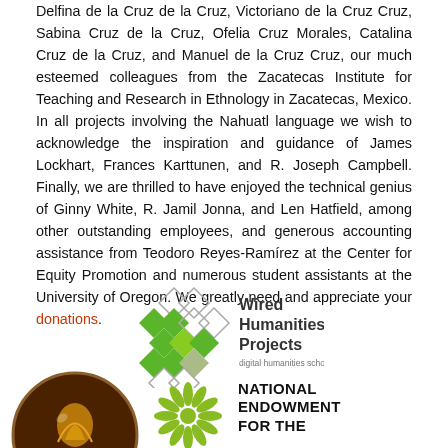Delfina de la Cruz de la Cruz, Victoriano de la Cruz Cruz, Sabina Cruz de la Cruz, Ofelia Cruz Morales, Catalina Cruz de la Cruz, and Manuel de la Cruz Cruz, our much esteemed colleagues from the Zacatecas Institute for Teaching and Research in Ethnology in Zacatecas, Mexico. In all projects involving the Nahuatl language we wish to acknowledge the inspiration and guidance of James Lockhart, Frances Karttunen, and R. Joseph Campbell. Finally, we are thrilled to have enjoyed the technical genius of Ginny White, R. Jamil Jonna, and Len Hatfield, among other outstanding employees, and generous accounting assistance from Teodoro Reyes-Ramírez at the Center for Equity Promotion and numerous student assistants at the University of Oregon. We greatly need and appreciate your donations.
[Figure (logo): Wired Humanities Projects logo — a diamond grid of green and white/outline squares arranged in a cross/diamond pattern, next to the text 'Wired Humanities Projects' with tagline 'digital humanities scholarship since 1997']
[Figure (logo): Circular logo with dark brown background showing a golden/orange stylized bird or feathered figure, partially visible at bottom left]
[Figure (logo): National Endowment for the Humanities logo — green circular sunburst/flower design, partially visible, with text 'NATIONAL ENDOWMENT FOR THE' in bold black]